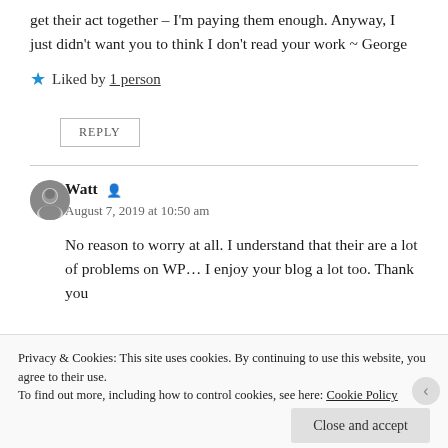get their act together – I'm paying them enough. Anyway, I just didn't want you to think I don't read your work ~ George
★ Liked by 1 person
REPLY
Watt
August 7, 2019 at 10:50 am
No reason to worry at all. I understand that their are a lot of problems on WP... I enjoy your blog a lot too. Thank you
Privacy & Cookies: This site uses cookies. By continuing to use this website, you agree to their use. To find out more, including how to control cookies, see here: Cookie Policy
Close and accept